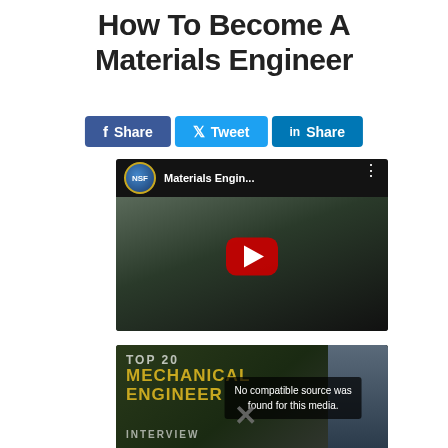How To Become A Materials Engineer
[Figure (other): Social sharing buttons: Facebook Share, Twitter Tweet, LinkedIn Share]
[Figure (screenshot): YouTube video thumbnail showing NSF Materials Engineer video with red play button]
[Figure (screenshot): Second video thumbnail showing Top 20 Mechanical Engineer Interview, with broken media error: No compatible source was found for this media.]